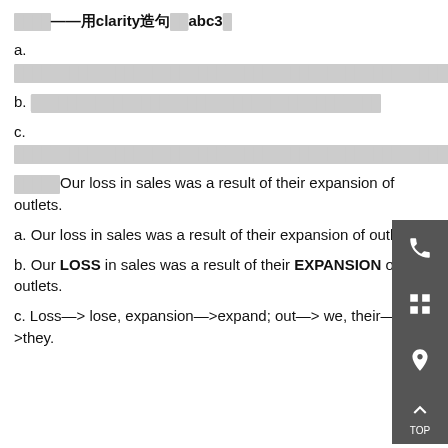【题目——用clarity造句abc3】
a. [garbled Chinese text]
b. [garbled Chinese text]
c. [garbled Chinese text]
【解析】Our loss in sales was a result of their expansion of outlets.
a. Our loss in sales was a result of their expansion of outlets.
b. Our LOSS in sales was a result of their EXPANSION of outlets.
c. Loss—> lose, expansion—>expand; out—> we, their—>they. —>We lost our sales because they expanded.